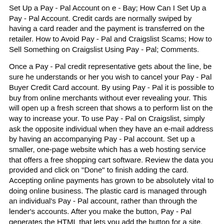Set Up a Pay - Pal Account on e - Bay; How Can I Set Up a Pay - Pal Account. Credit cards are normally swiped by having a card reader and the payment is transferred on the retailer. How to Avoid Pay - Pal and Craigslist Scams; How to Sell Something on Craigslist Using Pay - Pal; Comments.
Once a Pay - Pal credit representative gets about the line, be sure he understands or her you wish to cancel your Pay - Pal Buyer Credit Card account. By using Pay - Pal it is possible to buy from online merchants without ever revealing your. This will open up a fresh screen that shows a to perform list on the way to increase your. To use Pay - Pal on Craigslist, simply ask the opposite individual when they have an e-mail address by having an accompanying Pay - Pal account. Set up a smaller, one-page website which has a web hosting service that offers a free shopping cart software. Review the data you provided and click on "Done" to finish adding the card. Accepting online payments has grown to be absolutely vital to doing online business. The plastic card is managed through an individual's Pay - Pal account, rather than through the lender's accounts. After you make the button, Pay - Pal generates the HTML that lets you add the button for a site. Weebly allows you to obtain your url of your website, create your website using drag-and-drop technology, and post for the Internet completely free. A Pay - Pal account isn't very useful in the event you don't have a way to include money into it. paypal login asks for your reason the reason why you want reimbursement or wish to open a dispute and gives you space for adding more details.
you can add your Pay - Pal information to a Facebook page,. A benefit for using Pay - Pal is that you never have to "touch" your funds. Log in to your email account and open inside the email from Paypal that says